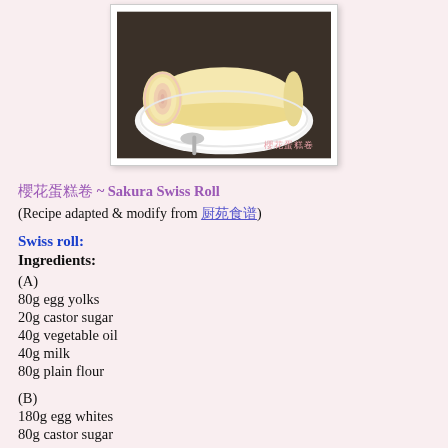[Figure (photo): A sakura swiss roll cake on a white plate with a spoon, photographed from above at a slight angle, with Chinese watermark text in pink.]
櫻花蛋糕卷 ~ Sakura Swiss Roll
(Recipe adapted & modify from 厨苑食谱)
Swiss roll:
Ingredients:
(A)
80g egg yolks
20g castor sugar
40g vegetable oil
40g milk
80g plain flour
(B)
180g egg whites
80g castor sugar